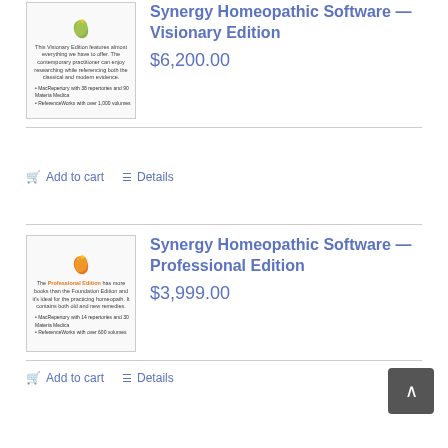[Figure (illustration): Synergy Visionary Edition product image with green leaf icon and bullet points about MacRepertory and ReferenceWorks]
Synergy Homeopathic Software — Visionary Edition
$6,200.00
Add to cart   Details
[Figure (illustration): Synergy Professional Edition product image with orange leaf icon and bullet points about MacRepertory and ReferenceWorks]
Synergy Homeopathic Software — Professional Edition
$3,999.00
Add to cart   Details